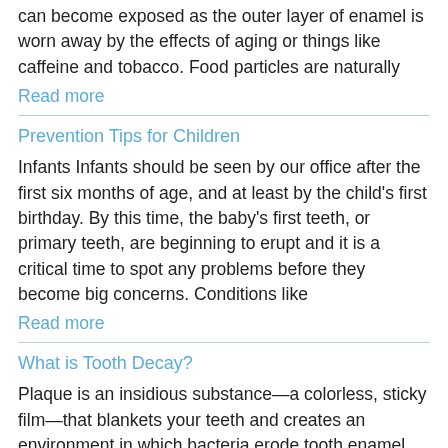can become exposed as the outer layer of enamel is worn away by the effects of aging or things like caffeine and tobacco. Food particles are naturally
Read more
Prevention Tips for Children
Infants Infants should be seen by our office after the first six months of age, and at least by the child's first birthday. By this time, the baby's first teeth, or primary teeth, are beginning to erupt and it is a critical time to spot any problems before they become big concerns. Conditions like
Read more
What is Tooth Decay?
Plaque is an insidious substance—a colorless, sticky film—that blankets your teeth and creates an environment in which bacteria erode tooth enamel,